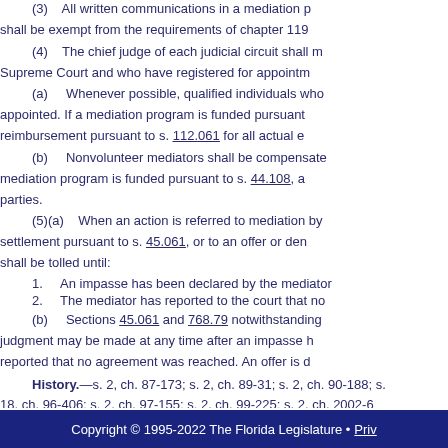(3) All written communications in a mediation proceeding shall be exempt from the requirements of chapter 119.
(4) The chief judge of each judicial circuit shall maintain a list of mediators certified by the Florida Supreme Court and who have registered for appointment in that circuit.
(a) Whenever possible, qualified individuals who are willing to serve as volunteer mediators shall be appointed. If a mediation program is funded pursuant to s. 44.108, mediators shall be entitled to reimbursement pursuant to s. 112.061 for all actual expenses.
(b) Nonvolunteer mediators shall be compensated at an hourly rate set by the chief judge. If a mediation program is funded pursuant to s. 44.108, all mediator fees shall be paid by the parties.
(5)(a) When an action is referred to mediation by court order, a provision in a contract for settlement pursuant to s. 45.061, or to an offer or demand for judgment pursuant to s. 768.79, any applicable statutes of limitation shall be tolled until:
1. An impasse has been declared by the mediator; or
2. The mediator has reported to the court that no agreement was reached.
(b) Sections 45.061 and 768.79 notwithstanding, an offer or demand for judgment may be made at any time after an impasse has been declared or the mediator has reported that no agreement was reached. An offer is d
History.—s. 2, ch. 87-173; s. 2, ch. 89-31; s. 2, ch. 90-188; s. 18, ch. 96-406; s. 2, ch. 97-155; s. 2, ch. 99-225; s. 2, ch. 2002-6
Note.—Former s. 44.302.
Copyright © 1995-2022 The Florida Legislature • Priv